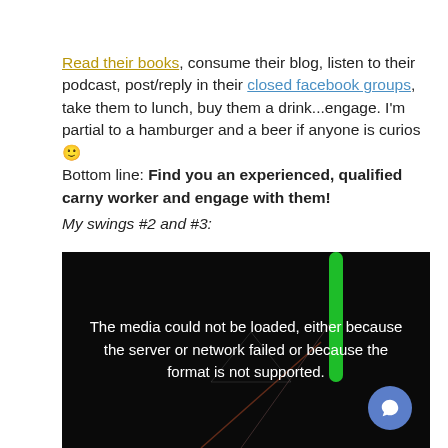Read their books, consume their blog, listen to their podcast, post/reply in their closed facebook groups, take them to lunch, buy them a drink...engage. I'm partial to a hamburger and a beer if anyone is curios 🙂 Bottom line: Find you an experienced, qualified carny worker and engage with them! My swings #2 and #3:
[Figure (screenshot): A dark video player showing a media error message: 'The media could not be loaded, either because the server or network failed or because the format is not supported.' Background shows faint glowing sticks in the dark. A blue circular chat button is in the bottom-right corner.]